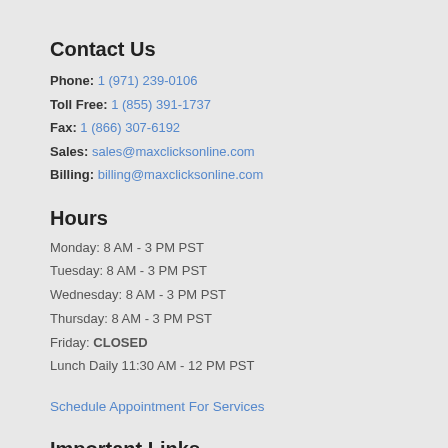Contact Us
Phone: 1 (971) 239-0106
Toll Free: 1 (855) 391-1737
Fax: 1 (866) 307-6192
Sales: sales@maxclicksonline.com
Billing: billing@maxclicksonline.com
Hours
Monday: 8 AM - 3 PM PST
Tuesday: 8 AM - 3 PM PST
Wednesday: 8 AM - 3 PM PST
Thursday: 8 AM - 3 PM PST
Friday: CLOSED
Lunch Daily 11:30 AM - 12 PM PST
Schedule Appointment For Services
Important Links